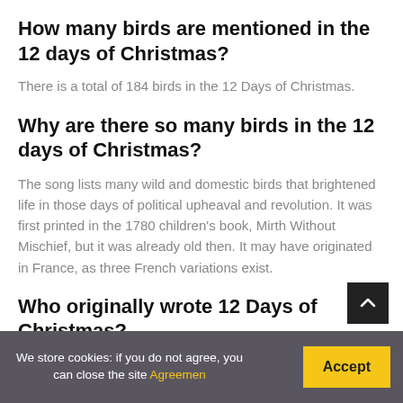How many birds are mentioned in the 12 days of Christmas?
There is a total of 184 birds in the 12 Days of Christmas.
Why are there so many birds in the 12 days of Christmas?
The song lists many wild and domestic birds that brightened life in those days of political upheaval and revolution. It was first printed in the 1780 children's book, Mirth Without Mischief, but it was already old then. It may have originated in France, as three French variations exist.
Who originally wrote 12 Days of Christmas?
The twelfth day of Christmas (January 5) is sometim called Epiphany Eve, as it precedes Epiphany, a day which...
We store cookies: if you do not agree, you can close the site Agreemen